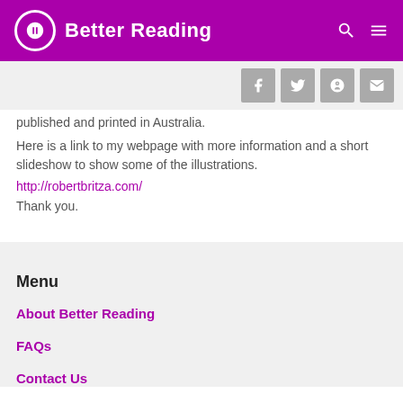Better Reading
published and printed in Australia.
Here is a link to my webpage with more information and a short slideshow to show some of the illustrations.
http://robertbritza.com/
Thank you.
Menu
About Better Reading
FAQs
Contact Us